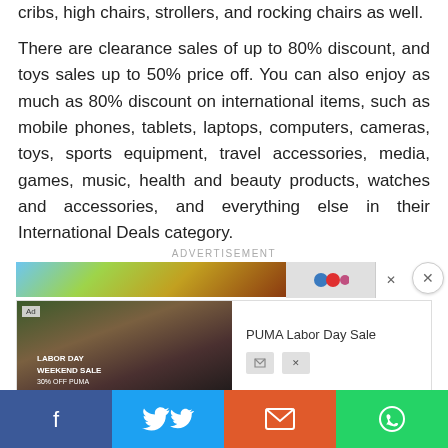cribs, high chairs, strollers, and rocking chairs as well.
There are clearance sales of up to 80% discount, and toys sales up to 50% price off. You can also enjoy as much as 80% discount on international items, such as mobile phones, tablets, laptops, computers, cameras, toys, sports equipment, travel accessories, media, games, music, health and beauty products, watches and accessories, and everything else in their International Deals category.
ADVERTISEMENT
[Figure (screenshot): Advertisement banner strip with colorful gradient on left and small icons on right, with close X button]
[Figure (screenshot): PUMA Labor Day Sale advertisement with image on left and title on right]
[Figure (infographic): Social sharing bar with Facebook, Twitter, Email, and WhatsApp buttons]